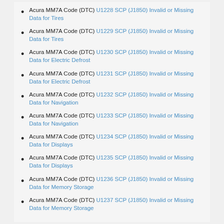Acura MM7A Code (DTC) U1228 SCP (J1850) Invalid or Missing Data for Tires
Acura MM7A Code (DTC) U1229 SCP (J1850) Invalid or Missing Data for Tires
Acura MM7A Code (DTC) U1230 SCP (J1850) Invalid or Missing Data for Electric Defrost
Acura MM7A Code (DTC) U1231 SCP (J1850) Invalid or Missing Data for Electric Defrost
Acura MM7A Code (DTC) U1232 SCP (J1850) Invalid or Missing Data for Navigation
Acura MM7A Code (DTC) U1233 SCP (J1850) Invalid or Missing Data for Navigation
Acura MM7A Code (DTC) U1234 SCP (J1850) Invalid or Missing Data for Displays
Acura MM7A Code (DTC) U1235 SCP (J1850) Invalid or Missing Data for Displays
Acura MM7A Code (DTC) U1236 SCP (J1850) Invalid or Missing Data for Memory Storage
Acura MM7A Code (DTC) U1237 SCP (J1850) Invalid or Missing Data for Memory Storage